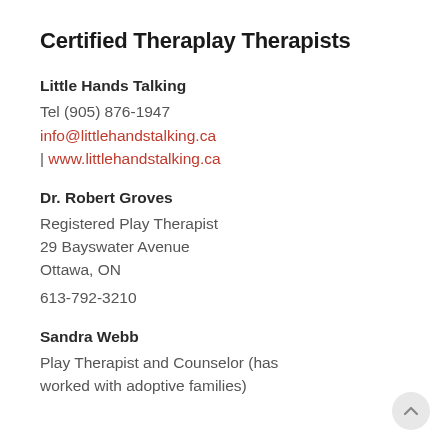Certified Theraplay Therapists
Little Hands Talking
Tel (905) 876-1947
info@littlehandstalking.ca | www.littlehandstalking.ca
Dr. Robert Groves
Registered Play Therapist
29 Bayswater Avenue
Ottawa, ON
613-792-3210
Sandra Webb
Play Therapist and Counselor (has worked with adoptive families)